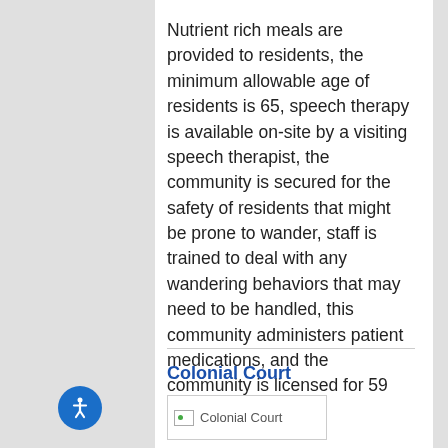Nutrient rich meals are provided to residents, the minimum allowable age of residents is 65, speech therapy is available on-site by a visiting speech therapist, the community is secured for the safety of residents that might be prone to wander, staff is trained to deal with any wandering behaviors that may need to be handled, this community administers patient medications, and the community is licensed for 59 residents.
Colonial Court
[Figure (photo): Colonial Court image placeholder]